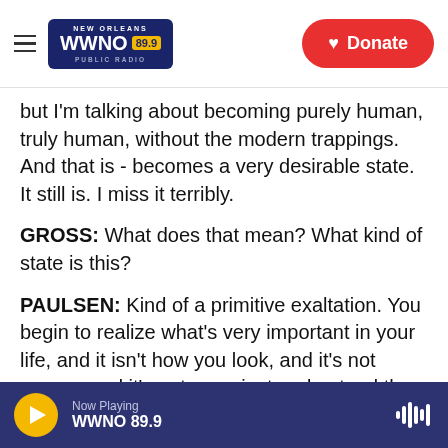[Figure (logo): WWNO 89.9 New Orleans Public Radio logo with hamburger menu and Donate button]
but I'm talking about becoming purely human, truly human, without the modern trappings. And that is - becomes a very desirable state. It still is. I miss it terribly.
GROSS: What does that mean? What kind of state is this?
PAULSEN: Kind of a primitive exaltation. You begin to realize what's very important in your life, and it isn't how you look, and it's not money, and it's not - you just understand the basics of what you're doing, of breathing, of living, of thinking, of reacting to the nature. I think most of it is we have lost in
Now Playing WWNO 89.9